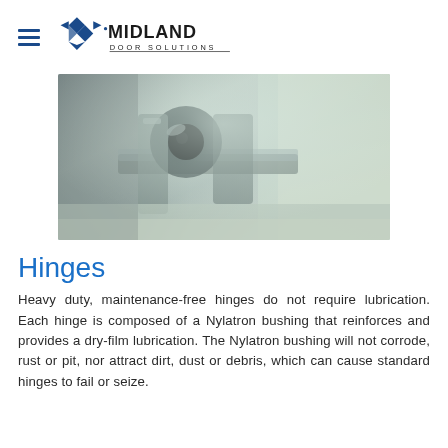Midland Door Solutions
[Figure (photo): Close-up photo of a heavy-duty door hinge showing a cylindrical metal pin and hinge bracket, with metallic grey tones]
Hinges
Heavy duty, maintenance-free hinges do not require lubrication. Each hinge is composed of a Nylatron bushing that reinforces and provides a dry-film lubrication. The Nylatron bushing will not corrode, rust or pit, nor attract dirt, dust or debris, which can cause standard hinges to fail or seize.